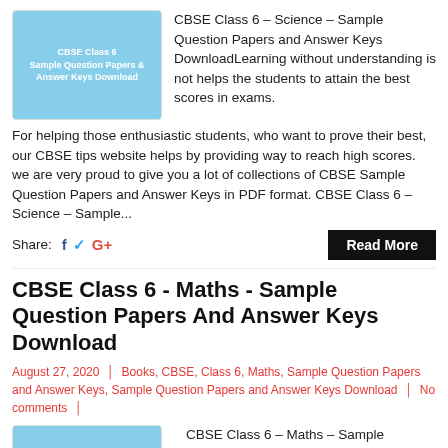[Figure (illustration): Thumbnail image with light blue background showing text: CBSE Class 6 Sample Question Papers & Answer Keys Download]
CBSE Class 6 – Science – Sample Question Papers and Answer Keys DownloadLearning without understanding is not helps the students to attain the best scores in exams. For helping those enthusiastic students, who want to prove their best, our CBSE tips website helps by providing way to reach high scores. we are very proud to give you a lot of collections of CBSE Sample Question Papers and Answer Keys in PDF format. CBSE Class 6 – Science – Sample...
Share: f ꙳ G+
CBSE Class 6 - Maths - Sample Question Papers And Answer Keys Download
August 27, 2020 ¦ Books, CBSE, Class 6, Maths, Sample Question Papers and Answer Keys, Sample Question Papers and Answer Keys Download ¦ No comments ¦
[Figure (illustration): Thumbnail image with light blue background showing text: CBSE Class 6 Sample Question Papers & Answer Keys Download]
CBSE Class 6 – Maths – Sample Question Papers and Answer Keys DownloadLearning without understanding is not helps the students to attain the best scores in exams.